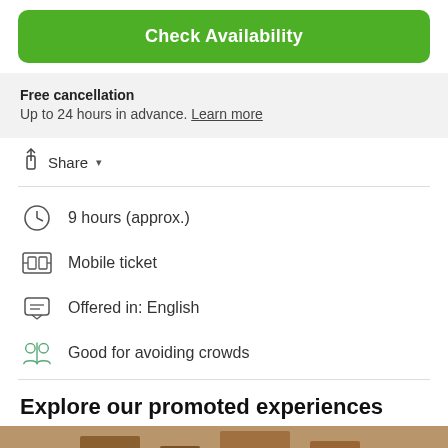Check Availability
Free cancellation
Up to 24 hours in advance. Learn more
Share
9 hours (approx.)
Mobile ticket
Offered in: English
Good for avoiding crowds
Explore our promoted experiences